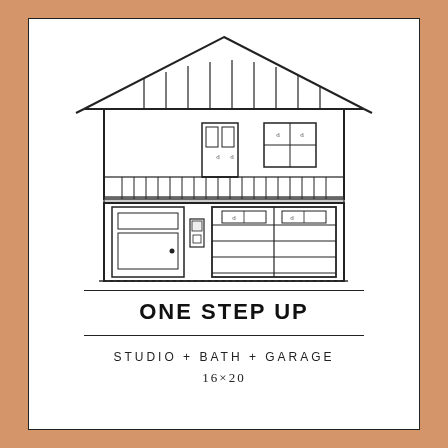[Figure (engineering-diagram): Front elevation architectural drawing of a two-story garage with studio above. Shows gabled roof with exposed rafter tails, upper level with balcony railing, two windows and a door, lower level with a single entry door on left and a large double garage door on right. Line drawing style, black and white.]
ONE STEP UP
STUDIO + BATH + GARAGE
16×20